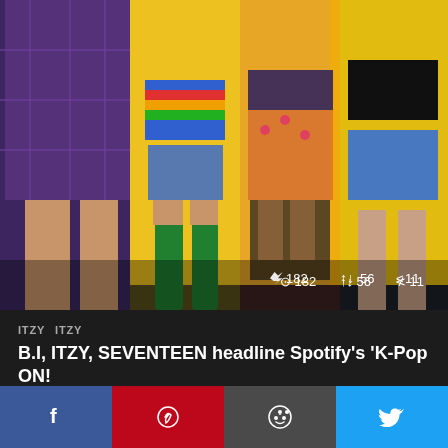[Figure (photo): Group photo of ITZY K-pop girl group members posing in colorful outfits against a yellow background with stats overlay showing 182 views, 56 reposts, 11 shares]
ITZY  ITZY
B.I, ITZY, SEVENTEEN headline Spotify's 'K-Pop ON!
by admin 23 hours ago
[Figure (infographic): Social share bar with Facebook, Pinterest, Reddit, and Twitter buttons]